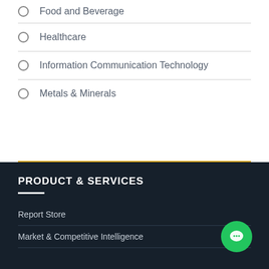Food and Beverage
Healthcare
Information Communication Technology
Metals & Minerals
PRODUCT & SERVICES
Report Store
Market & Competitive Intelligence